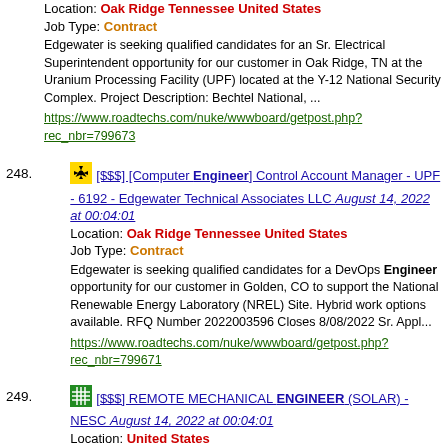Location: Oak Ridge Tennessee United States
Job Type: Contract
Edgewater is seeking qualified candidates for an Sr. Electrical Superintendent opportunity for our customer in Oak Ridge, TN at the Uranium Processing Facility (UPF) located at the Y-12 National Security Complex. Project Description: Bechtel National, ...
https://www.roadtechs.com/nuke/wwwboard/getpost.php?rec_nbr=799673
248. [$$$] [Computer Engineer] Control Account Manager - UPF - 6192 - Edgewater Technical Associates LLC August 14, 2022 at 00:04:01
Location: Oak Ridge Tennessee United States
Job Type: Contract
Edgewater is seeking qualified candidates for a DevOps Engineer opportunity for our customer in Golden, CO to support the National Renewable Energy Laboratory (NREL) Site. Hybrid work options available. RFQ Number 2022003596 Closes 8/08/2022 Sr. Appl...
https://www.roadtechs.com/nuke/wwwboard/getpost.php?rec_nbr=799671
249. [$$$] REMOTE MECHANICAL ENGINEER (SOLAR) - NESC August 14, 2022 at 00:04:01
Location: United States
Job Type: Contract